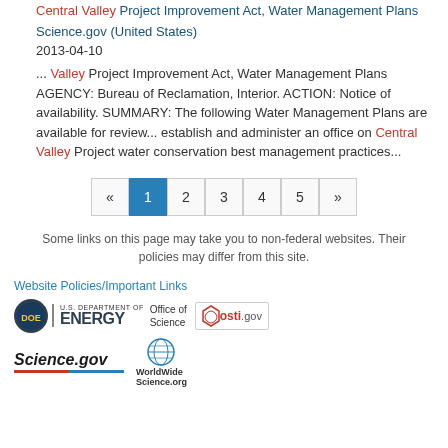Central Valley Project Improvement Act, Water Management Plans
Science.gov (United States)
2013-04-10
... Valley Project Improvement Act, Water Management Plans AGENCY: Bureau of Reclamation, Interior. ACTION: Notice of availability. SUMMARY: The following Water Management Plans are available for review... establish and administer an office on Central Valley Project water conservation best management practices...
« 1 2 3 4 5 »
Some links on this page may take you to non-federal websites. Their policies may differ from this site.
Website Policies/Important Links